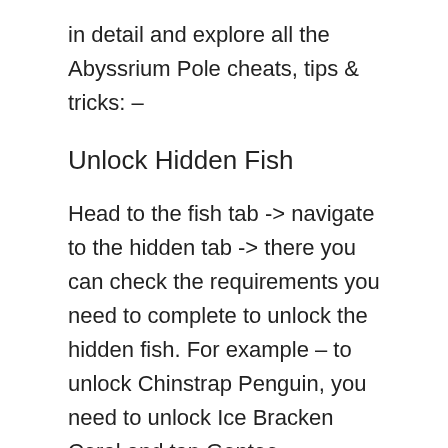in detail and explore all the Abyssrium Pole cheats, tips & tricks: –
Unlock Hidden Fish
Head to the fish tab -> navigate to the hidden tab -> there you can check the requirements you need to complete to unlock the hidden fish. For example – to unlock Chinstrap Penguin, you need to unlock Ice Bracken Coral and tap Gentoo Penguin's Bubble(after unlocking and placing Gentoo Penguin in the iceberg, wait for the heart icon to appear – tap it to complete the requirements). Your goal is to unlock all the hidden fish! You can check all